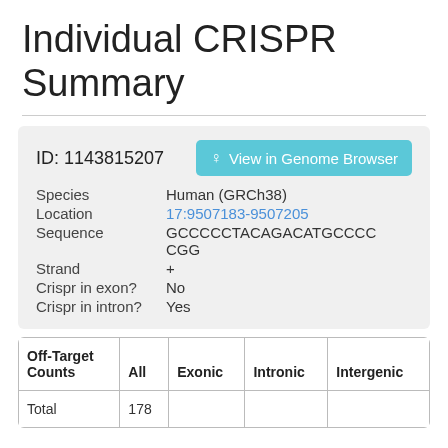Individual CRISPR Summary
ID: 1143815207
View in Genome Browser
Species: Human (GRCh38)
Location: 17:9507183-9507205
Sequence: GCCCCCTACAGACATGCCCC CGG
Strand: +
Crispr in exon? No
Crispr in intron? Yes
| Off-Target Counts | All | Exonic | Intronic | Intergenic |
| --- | --- | --- | --- | --- |
| Total | 178 |  |  |  |